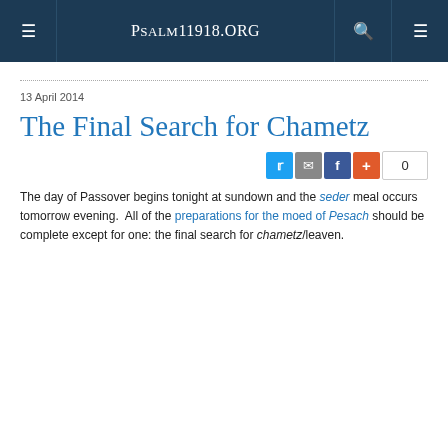Psalm11918.org
13 April 2014
The Final Search for Chametz
[Figure (other): Social share buttons: Twitter, Email, Facebook, Plus, with count 0]
The day of Passover begins tonight at sundown and the seder meal occurs tomorrow evening.  All of the preparations for the moed of Pesach should be complete except for one: the final search for chametz/leaven.